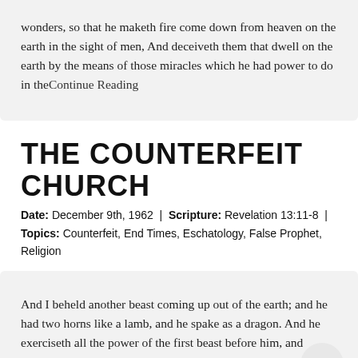wonders, so that he maketh fire come down from heaven on the earth in the sight of men, And deceiveth them that dwell on the earth by the means of those miracles which he had power to do in theContinue Reading
THE COUNTERFEIT CHURCH
Date: December 9th, 1962 | Scripture: Revelation 13:11-8 | Topics: Counterfeit, End Times, Eschatology, False Prophet, Religion
And I beheld another beast coming up out of the earth; and he had two horns like a lamb, and he spake as a dragon. And he exerciseth all the power of the first beast before him, and causeth the earth and them